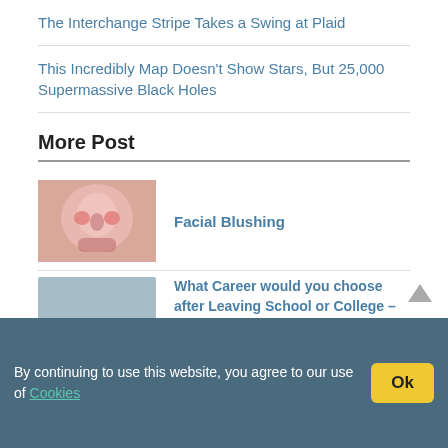The Interchange Stripe Takes a Swing at Plaid
This Incredibly Map Doesn't Show Stars, But 25,000 Supermassive Black Holes
More Post
[Figure (photo): Close-up photo of a person's face showing facial blushing/redness on cheeks and nose]
Facial Blushing
[Figure (photo): Thumbnail image partially obscured by cookie banner]
What Career would you choose after Leaving School or College – Give Reasons
By continuing to use this website, you agree to our use of Cookies
[Figure (photo): Book cover showing Trade Liberalization with hands image]
Trade Liberalization